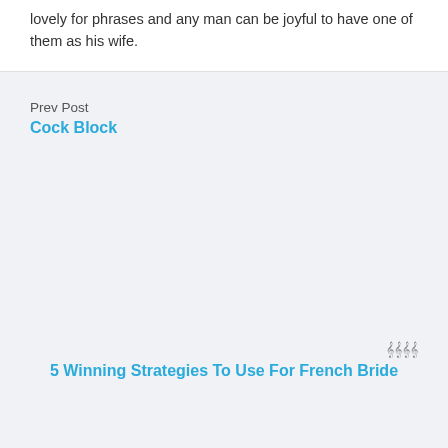lovely for phrases and any man can be joyful to have one of them as his wife.
Prev Post
Cock Block
𝅘𝅥𝅮𝅘𝅥𝅮𝅘𝅥𝅮𝅘𝅥𝅮
5 Winning Strategies To Use For French Bride